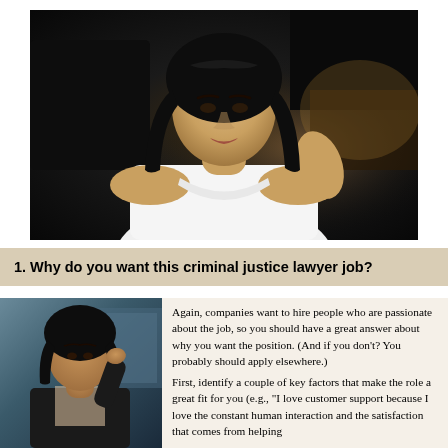[Figure (photo): Woman with long dark hair wearing a white sleeveless top, photographed against a dark background]
1. Why do you want this criminal justice lawyer job?
[Figure (photo): Woman in dark blazer, appears to be in a professional/interview setting]
Again, companies want to hire people who are passionate about the job, so you should have a great answer about why you want the position. (And if you don't? You probably should apply elsewhere.) First, identify a couple of key factors that make the role a great fit for you (e.g., "I love customer support because I love the constant human interaction and the satisfaction that comes from helping